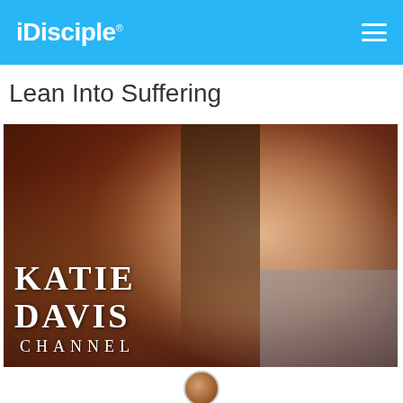iDisciple
Lean Into Suffering
[Figure (photo): Katie Davis Channel promotional photo showing a smiling young woman with brown eyes and dark hair, with the text 'KATIE DAVIS CHANNEL' overlaid in white serif font on the lower left of the image.]
[Figure (photo): Small circular avatar at the bottom of the page, partially visible.]